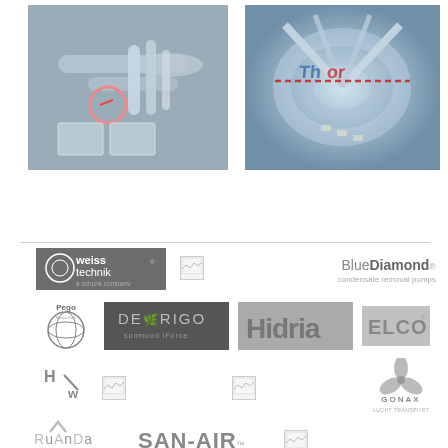[Figure (photo): Industrial HVAC ductwork installation, silver/grey metal pipes on ceiling]
[Figure (photo): Tunnel interior with pipes and lighting system, blue-toned perspective shot]
[Figure (logo): Weisstechnik – a schunk company logo (grey background, white text)]
[Figure (logo): Broken image placeholder]
[Figure (logo): Blue Diamond condensate removal pumps logo]
[Figure (logo): Pego logo (circular globe icon with company name)]
[Figure (logo): De Rigo logo (dark background, white text)]
[Figure (logo): Hidria logo (grey background)]
[Figure (logo): ELCO logo (grey background)]
[Figure (logo): H*w fan/blower logo]
[Figure (logo): Broken image placeholder]
[Figure (logo): Broken image placeholder]
[Figure (logo): Gonax logo with fan/impeller icon]
[Figure (logo): RuAnDa logo]
[Figure (logo): SAN-AIR logo]
[Figure (logo): Broken image placeholder]